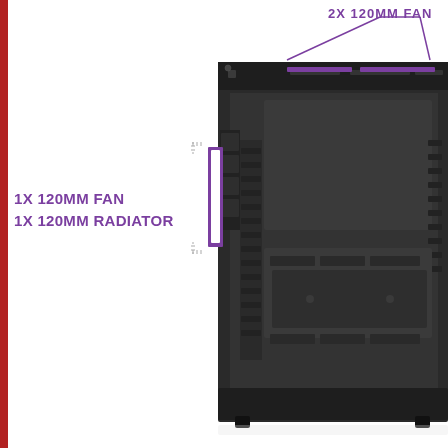[Figure (photo): Interior view of a PC computer case (chassis) with open side panel showing the internal layout. Purple annotation brackets indicate fan/radiator mounting positions: two brackets at the top indicating '2X 120MM FAN' positions, and one bracket on the left side indicating '1X 120MM FAN / 1X 120MM RADIATOR' position. The case interior is dark grey/black metal with visible drive bays, expansion slots, and mounting hardware.]
2X 120MM FAN
1X 120MM FAN
1X 120MM RADIATOR